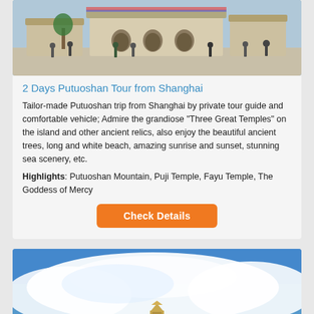[Figure (photo): Temple courtyard with people walking around, colorful decorative banners, stone architecture]
2 Days Putuoshan Tour from Shanghai
Tailor-made Putuoshan trip from Shanghai by private tour guide and comfortable vehicle; Admire the grandiose "Three Great Temples" on the island and other ancient relics, also enjoy the beautiful ancient trees, long and white beach, amazing sunrise and sunset, stunning sea scenery, etc.
Highlights: Putuoshan Mountain, Puji Temple, Fayu Temple, The Goddess of Mercy
Check Details
[Figure (photo): Blue sky with clouds and a small temple or pagoda structure visible at the bottom center]